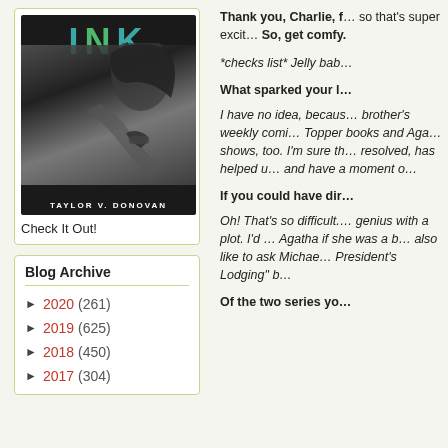[Figure (photo): Book cover for 'INK' by Taylor V. Donovan — black and white photo of a person tattooing, with colored text title INK at top]
Check It Out!
Blog Archive
► 2020 (261)
► 2019 (625)
► 2018 (450)
► 2017 (304)
Thank you, Charlie, f… so that's super excit… So, get comfy.
*checks list* Jelly bab…
What sparked your l…
I have no idea, becaus… brother's weekly comi… Topper books and Aga… shows, too. I'm sure th… resolved, has helped u… and have a moment o…
If you could have dir…
Oh! That's so difficult.… genius with a plot. I'd … Agatha if she was a b… also like to ask Michae… President's Lodging" b…
Of the two series yo…